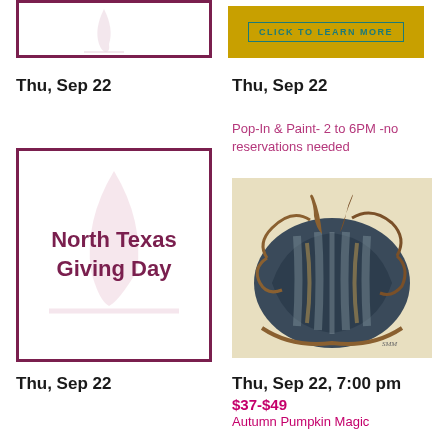[Figure (illustration): Partial top-left image with wine glass watermark, maroon border, cropped at top]
[Figure (other): Yellow/gold button with teal border saying CLICK TO LEARN MORE]
Thu, Sep 22
Thu, Sep 22
Pop-In & Paint- 2 to 6PM -no reservations needed
[Figure (illustration): North Texas Giving Day card with maroon border and wine glass watermark background, bold maroon text]
[Figure (photo): Painting of a dark blue/grey autumn pumpkin with brown stems and vines on a cream background]
Thu, Sep 22
Thu, Sep 22, 7:00 pm
$37-$49
Autumn Pumpkin Magic